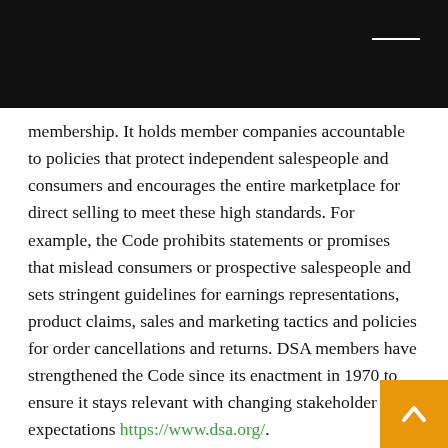membership. It holds member companies accountable to policies that protect independent salespeople and consumers and encourages the entire marketplace for direct selling to meet these high standards. For example, the Code prohibits statements or promises that mislead consumers or prospective salespeople and sets stringent guidelines for earnings representations, product claims, sales and marketing tactics and policies for order cancellations and returns. DSA members have strengthened the Code since its enactment in 1970 to ensure it stays relevant with changing stakeholder expectations https://www.dsa.org/.
One of the hallmarks of our Code of Ethics is that enforced by an independent administrator empowered by DSA members to resolve issues. The Code Administrator can impose a variety of remedies